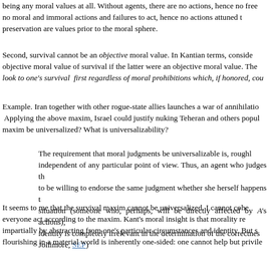being any moral values at all.  Without agents, there are no actions, hence no moral and immoral actions and failures to act, hence no actions attuned to preservation are values prior to the moral sphere.
Second, survival cannot be an objective moral value.  In Kantian terms, consider objective moral value of survival if the latter were an objective moral value.  The look to one's survival first regardless of moral prohibitions which, if honored, cou
Example.  Iran together with other rogue-state allies launches a war of annihilation. Applying the above maxim, Israel could justify nuking Teheran and others popul maxim be universalized?  What is universalizability?
The requirement that moral judgments be universalizable is, roughly independent of any particular point of view. Thus, an agent who judges tha to be willing to endorse the same judgment whether she herself happens to situation (someone who, perhaps, will be directly affected by A's actions), identity is completely irrelevant in the determination of the correctnes Jollimore, SEP)
It seems to me that the survival maxim cannot be universalized.  I cannot coher everyone act according to the maxim.  Kant's moral insight is that morality re impartially by abstracting from one's particular circumstances and identity.  But s flourishing in a material world is inherently one-sided: one cannot help but privile
My conclusion is that surivival, while a value, is not an objective moral value.  S that violates absolute moral norms is indeed non-moral and not moral in disguise.
Consider what a Stateside conservative talk jock, Dennis Prager, recently wrote:
The most moving interview of my 33 years in radio was with Irene Opdy the mistress of a married Nazi officer in order to save the lives of 12 Je